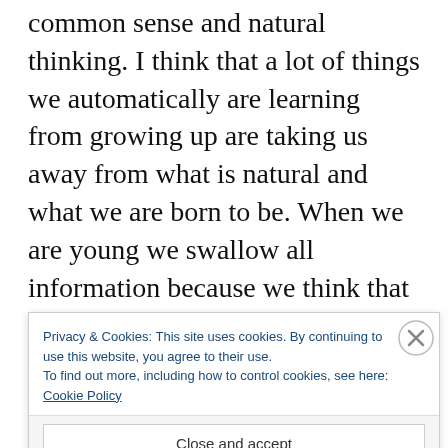common sense and natural thinking. I think that a lot of things we automatically are learning from growing up are taking us away from what is natural and what we are born to be. When we are young we swallow all information because we think that all grownups are right. Then we to go to school and we learn what we agree with and not, what is natural and what is not, because we don't know. At least that is how I've experienced it. This way of being with horses is so natural f f
Privacy & Cookies: This site uses cookies. By continuing to use this website, you agree to their use. To find out more, including how to control cookies, see here: Cookie Policy
Close and accept